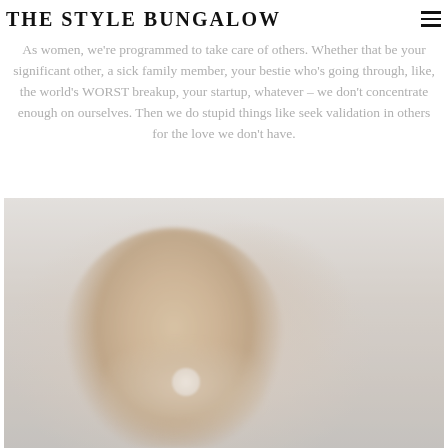THE STYLE BUNGALOW
As women, we're programmed to take care of others. Whether that be your significant other, a sick family member, your bestie who's going through, like, the world's WORST breakup, your startup, whatever – we don't concentrate enough on ourselves. Then we do stupid things like seek validation in others for the love we don't have.
[Figure (photo): A woman with wavy blonde hair wearing a white watch, looking down with her hand raised to her head, photographed in a soft, washed-out style against a blurred background.]